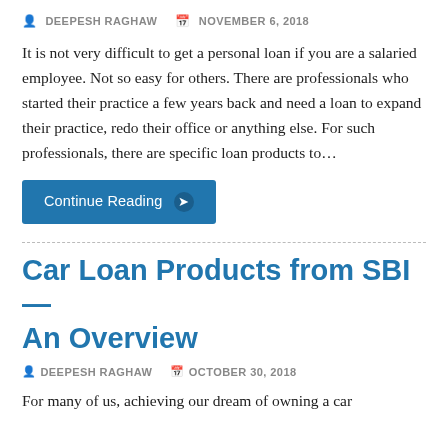DEEPESH RAGHAW  NOVEMBER 6, 2018
It is not very difficult to get a personal loan if you are a salaried employee. Not so easy for others. There are professionals who started their practice a few years back and need a loan to expand their practice, redo their office or anything else. For such professionals, there are specific loan products to…
Continue Reading ❯
Car Loan Products from SBI — An Overview
DEEPESH RAGHAW  OCTOBER 30, 2018
For many of us, achieving our dream of owning a car